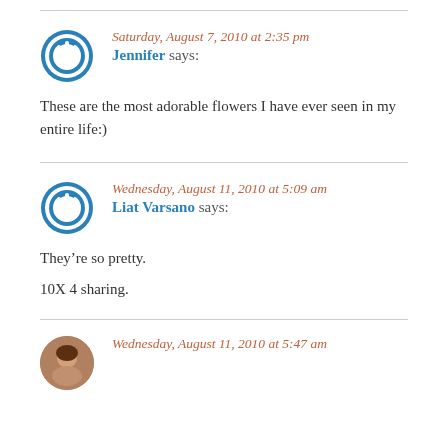Saturday, August 7, 2010 at 2:35 pm · Jennifer says: These are the most adorable flowers I have ever seen in my entire life:)
Wednesday, August 11, 2010 at 5:09 am · Liat Varsano says: Theyâre so pretty. 10X 4 sharing.
Wednesday, August 11, 2010 at 5:47 am